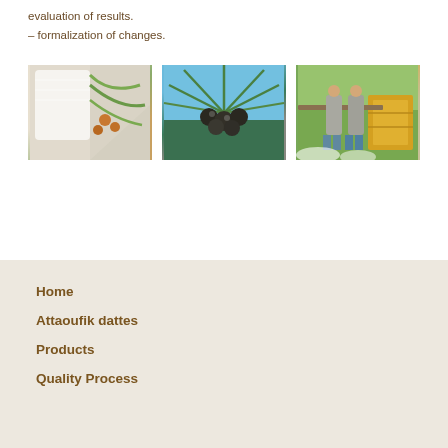evaluation of results.
– formalization of changes.
[Figure (photo): Close-up of white fabric/netting over date palm fronds with orange dates visible]
[Figure (photo): Close-up of dark round date fruits on a palm tree with blue sky background]
[Figure (photo): Two workers in grey coats standing near yellow crates on a date palm farm]
Home
Attaoufik dattes
Products
Quality Process